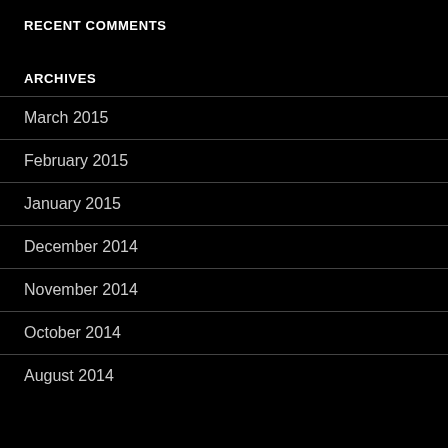RECENT COMMENTS
ARCHIVES
March 2015
February 2015
January 2015
December 2014
November 2014
October 2014
August 2014